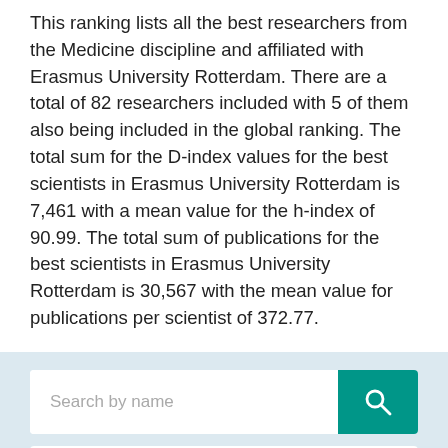This ranking lists all the best researchers from the Medicine discipline and affiliated with Erasmus University Rotterdam. There are a total of 82 researchers included with 5 of them also being included in the global ranking. The total sum for the D-index values for the best scientists in Erasmus University Rotterdam is 7,461 with a mean value for the h-index of 90.99. The total sum of publications for the best scientists in Erasmus University Rotterdam is 30,567 with the mean value for publications per scientist of 372.77.
[Figure (other): Search input field with placeholder 'Search by name' and a teal search button with magnifying glass icon]
[Figure (other): Sort dropdown labeled 'Sort by World Position' with a chevron/down arrow on the right]